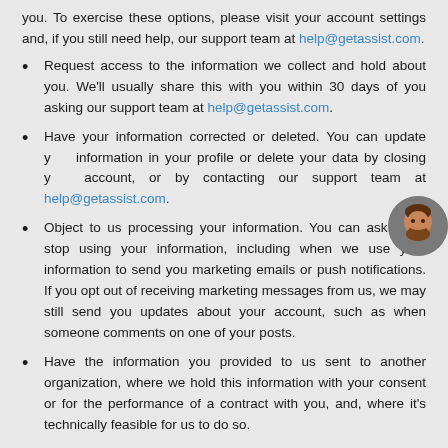you. To exercise these options, please visit your account settings and, if you still need help, our support team at help@getassist.com.
Request access to the information we collect and hold about you. We'll usually share this with you within 30 days of you asking our support team at help@getassist.com.
Have your information corrected or deleted. You can update your information in your profile or delete your data by closing your account, or by contacting our support team at help@getassist.com.
Object to us processing your information. You can ask us to stop using your information, including when we use your information to send you marketing emails or push notifications. If you opt out of receiving marketing messages from us, we may still send you updates about your account, such as when someone comments on one of your posts.
Have the information you provided to us sent to another organization, where we hold this information with your consent or for the performance of a contract with you, and, where it's technically feasible for us to do so.